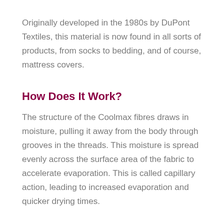Originally developed in the 1980s by DuPont Textiles, this material is now found in all sorts of products, from socks to bedding, and of course, mattress covers.
How Does It Work?
The structure of the Coolmax fibres draws in moisture, pulling it away from the body through grooves in the threads. This moisture is spread evenly across the surface area of the fabric to accelerate evaporation. This is called capillary action, leading to increased evaporation and quicker drying times.